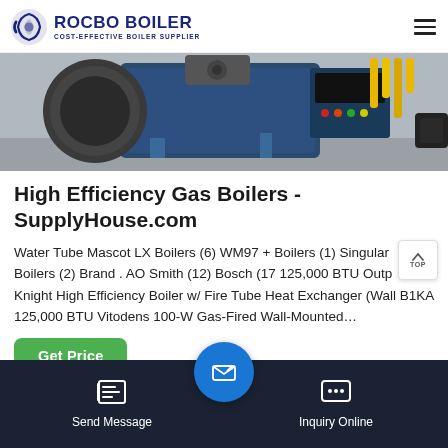ROCBO BOILER COST-EFFECTIVE BOILER SUPPLIER
[Figure (photo): Industrial gas boiler equipment photo showing blue boiler unit with control panel, yellow pipes, and motor assembly in a warehouse setting]
High Efficiency Gas Boilers - SupplyHouse.com
Water Tube Mascot LX Boilers (6) WM97 + Boilers (1) Singular Boilers (2) Brand . AO Smith (12) Bosch (17 125,000 BTU Outp Knight High Efficiency Boiler w/ Fire Tube Heat Exchanger (Wall B1KA 125,000 BTU Vitodens 100-W Gas-Fired Wall-Mounted...
Get Price
Send Message | Inquiry Online